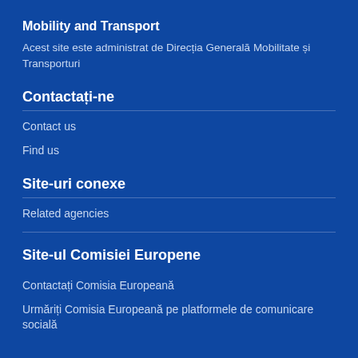Mobility and Transport
Acest site este administrat de Direcția Generală Mobilitate și Transporturi
Contactați-ne
Contact us
Find us
Site-uri conexe
Related agencies
Site-ul Comisiei Europene
Contactați Comisia Europeană
Urmăriți Comisia Europeană pe platformele de comunicare socială [...]